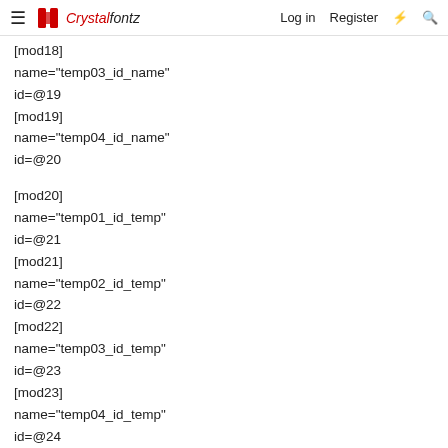Crystalfontz — Log in  Register
[mod18]
name="temp03_id_name"
id=@19
[mod19]
name="temp04_id_name"
id=@20
[mod20]
name="temp01_id_temp"
id=@21
[mod21]
name="temp02_id_temp"
id=@22
[mod22]
name="temp03_id_temp"
id=@23
[mod23]
name="temp04_id_temp"
id=@24